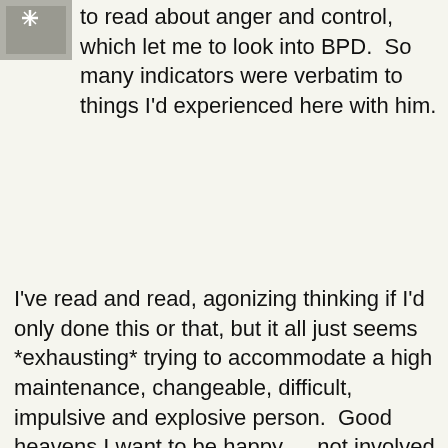[Figure (photo): Small avatar/profile photo thumbnail in grayscale]
to read about anger and control, which let me to look into BPD.  So many indicators were verbatim to things I'd experienced here with him.
I've read and read, agonizing thinking if I'd only done this or that, but it all just seems *exhausting* trying to accommodate a high maintenance, changeable, difficult, impulsive and explosive person.  Good heavens I want to be happy… .not involved in a daily emotional chess game where my natural and relatively normal responses have to be examined, controlled and contrived in order to